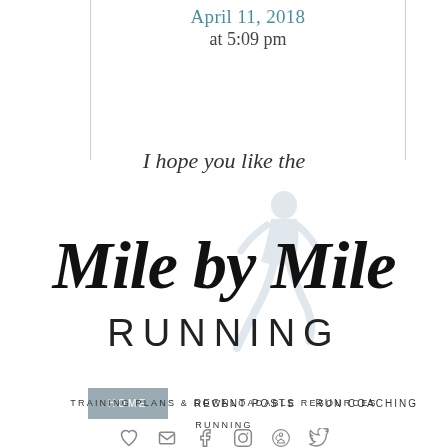April 11, 2018
at 5:09 pm
I hope you like the
[Figure (logo): Mile by Mile Running logo with script text 'Mile by Mile' in bold cursive and 'RUNNING' in uppercase serif, with a faint runner silhouette watermark in blue-grey behind the text]
HOME   RECENT POSTS   RUN COACHING
[Figure (infographic): Social media icon row: heart, email/envelope, facebook, instagram, pinterest, twitter]
TRAINING PLANS & DOWNLOADABLE RESOURCES
RUNNING